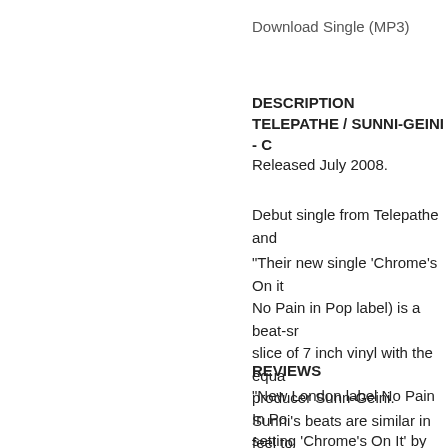Download Single (MP3)
DESCRIPTION
TELEPATHE / SUNNI-GEINI - C
Released July 2008.
Debut single from Telepathe and
"Their new single 'Chrome's On it No Pain in Pop label) is a beat-sr slice of 7 inch vinyl with the equa producer Sunn-Geini. Sunni's beats are similar in feel to Prefuse 73, albeit infused with the rhythmic rolls of fellow South Lon
REVIEWS
"New London label No Pain In Po setting 'Chrome's On It' by hotly t by South London band Sunni Ge demonstrates exactly what's set t adventurous brand of electro-psy